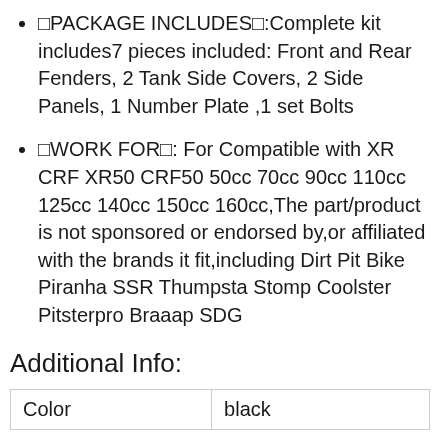🔴PACKAGE INCLUDES🔴:Complete kit includes7 pieces included: Front and Rear Fenders, 2 Tank Side Covers, 2 Side Panels, 1 Number Plate ,1 set Bolts
🔴WORK FOR🔴: For Compatible with XR CRF XR50 CRF50 50cc 70cc 90cc 110cc 125cc 140cc 150cc 160cc,The part/product is not sponsored or endorsed by,or affiliated with the brands it fit,including Dirt Pit Bike Piranha SSR Thumpsta Stomp Coolster Pitsterpro Braaap SDG
Additional Info:
| Color | black |